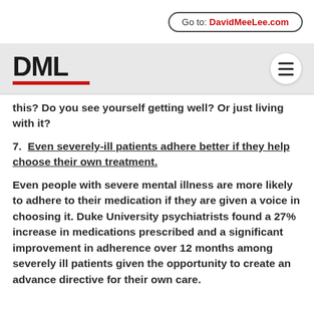Go to: DavidMeeLee.com
[Figure (logo): DML logo with red underline and hamburger menu icon]
…getting yourself ready? Do you see yourself getting well? Or just living with it?
7.  Even severely-ill patients adhere better if they help choose their own treatment.
Even people with severe mental illness are more likely to adhere to their medication if they are given a voice in choosing it. Duke University psychiatrists found a 27% increase in medications prescribed and a significant improvement in adherence over 12 months among severely ill patients given the opportunity to create an advance directive for their own care.